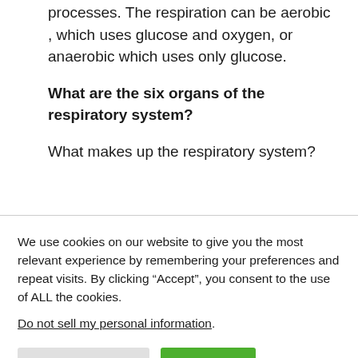processes. The respiration can be aerobic , which uses glucose and oxygen, or anaerobic which uses only glucose.
What are the six organs of the respiratory system?
What makes up the respiratory system?
We use cookies on our website to give you the most relevant experience by remembering your preferences and repeat visits. By clicking “Accept”, you consent to the use of ALL the cookies.
Do not sell my personal information.